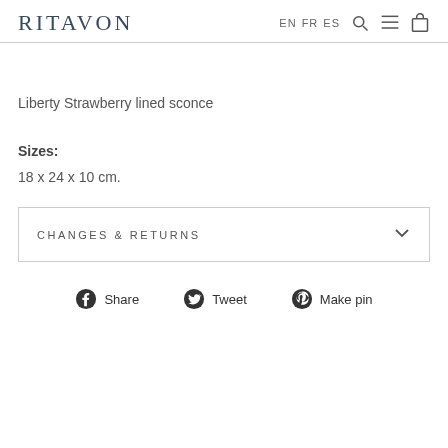RITAVON — EN FR ES
Liberty Strawberry lined sconce
Sizes:
18 x 24 x 10 cm.
CHANGES & RETURNS
Share   Tweet   Make pin